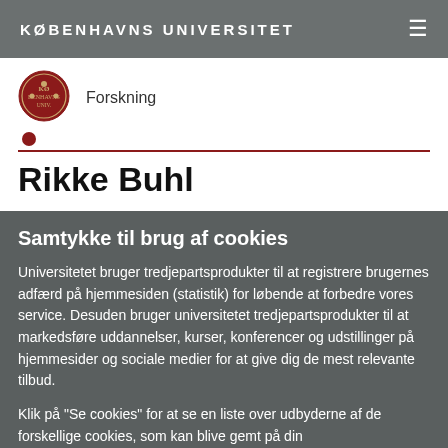KØBENHAVNS UNIVERSITET
[Figure (logo): University of Copenhagen circular red seal logo]
Forskning
Rikke Buhl
Samtykke til brug af cookies
Universitetet bruger tredjepartsprodukter til at registrere brugernes adfærd på hjemmesiden (statistik) for løbende at forbedre vores service. Desuden bruger universitetet tredjepartsprodukter til at markedsføre uddannelser, kurser, konferencer og udstillinger på hjemmesider og sociale medier for at give dig de mest relevante tilbud.
Klik på "Se cookies" for at se en liste over udbyderne af de forskellige cookies, som kan blive gemt på din